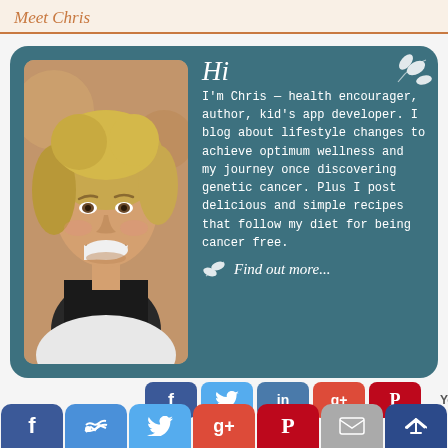Meet Chris
[Figure (infographic): A teal rounded-corner card with a photo of a smiling middle-aged blonde woman on the left and handwritten-style text on the right reading: Hi, I'm Chris — health encourager, author, kid's app developer. I blog about lifestyle changes to achieve optimum wellness and my journey once discovering genetic cancer. Plus I post delicious and simple recipes that follow my diet for being cancer free. Find out more...]
[Figure (infographic): A row of social media icon buttons: Facebook, like/thumbs-up, Twitter, Google+, Pinterest, email/envelope, and a crown icon button. Above is a partial row with smaller versions of Facebook, Twitter, LinkedIn, Google+, and Pinterest icons, plus a 'You' label.]